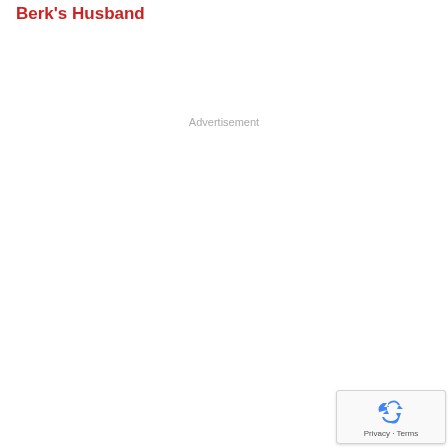Berk's Husband
Advertisement
[Figure (other): reCAPTCHA widget with recycling arrow icon, Privacy and Terms links]